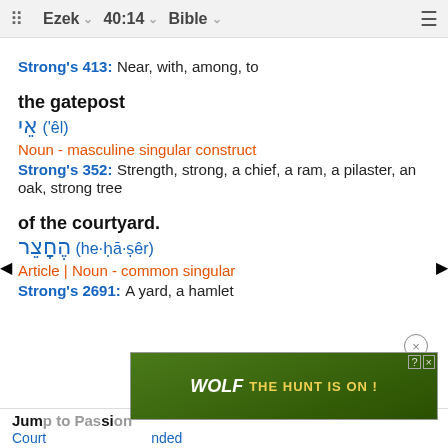Ezek 40:14 Bible
Strong's 413: Near, with, among, to
the gatepost
אֵי ('êl)
Noun - masculine singular construct
Strong's 352: Strength, strong, a chief, a ram, a pilaster, an oak, strong tree
of the courtyard.
הֶחָצֵר (he·ḥā·ṣêr)
Article | Noun - common singular
Strong's 2691: A yard, a hamlet
Jump to Passage
Courtyard ... nded
[Figure (photo): Wolf game advertisement banner showing wolves in a field with text THE HUNT IS ON!]